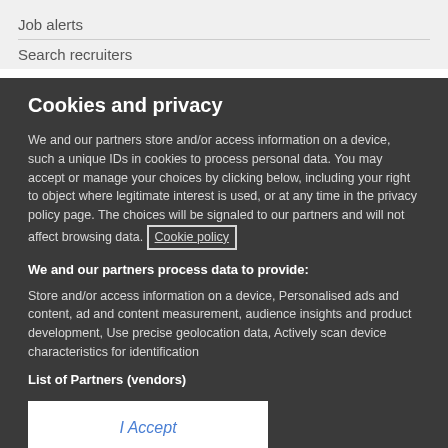Job alerts
Search recruiters
Cookies and privacy
We and our partners store and/or access information on a device, such a unique IDs in cookies to process personal data. You may accept or manage your choices by clicking below, including your right to object where legitimate interest is used, or at any time in the privacy policy page. These choices will be signaled to our partners and will not affect browsing data. Cookie policy
We and our partners process data to provide:
Store and/or access information on a device, Personalised ads and content, ad and content measurement, audience insights and product development, Use precise geolocation data, Actively scan device characteristics for identification
List of Partners (vendors)
I Accept